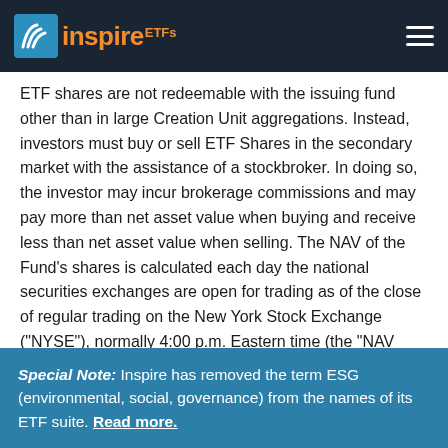Inspire ETFs
ETF shares are not redeemable with the issuing fund other than in large Creation Unit aggregations. Instead, investors must buy or sell ETF Shares in the secondary market with the assistance of a stockbroker. In doing so, the investor may incur brokerage commissions and may pay more than net asset value when buying and receive less than net asset value when selling. The NAV of the Fund’s shares is calculated each day the national securities exchanges are open for trading as of the close of regular trading on the New York Stock Exchange (“NYSE”), normally 4:00 p.m. Eastern time (the “NAV Calculation Time”). Shares are bought and sold at market price (closing price) not NAV. Market Price returns are based upon the official closing price on the listing exchange (NYSE ARCA) at 4:00 p.m. ET when NAV is normally determined for most Inspire Funds, and do not represent the returns you would receive if you traded shares at other times.
Special Note: Inspire has removed the term ESG (environmental, social, governance) from the names of its ETF suite. Read more.